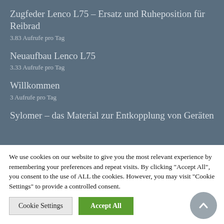Zugfeder Lenco L75 – Ersatz und Ruheposition für Reibrad
3.83 Aufrufe pro Tag
Neuaufbau Lenco L75
3.33 Aufrufe pro Tag
Willkommen
3 Aufrufe pro Tag
Sylomer – das Material zur Entkopplung von Geräten
We use cookies on our website to give you the most relevant experience by remembering your preferences and repeat visits. By clicking "Accept All", you consent to the use of ALL the cookies. However, you may visit "Cookie Settings" to provide a controlled consent.